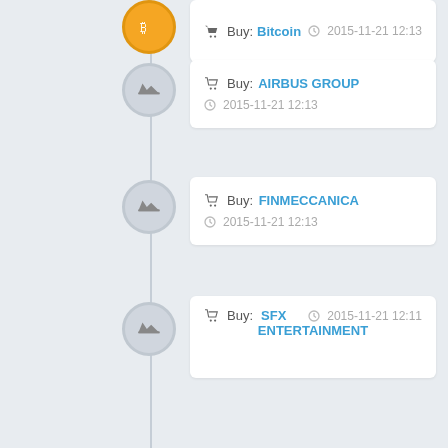Buy: Bitcoin - 2015-11-21 12:13
Buy: AIRBUS GROUP - 2015-11-21 12:13
Buy: FINMECCANICA - 2015-11-21 12:13
Buy: SFX ENTERTAINMENT - 2015-11-21 12:11
Buy: STAGE STORES - 2015-11-21 12:10
Buy: SANDRIDGE ENERGY - 2015-11-21 12:10
Buy: THE BON-TON STORES - 2015-11-21 12:10
Buy: SFX ENTERTAINMENT - 2015-11-21 12:10